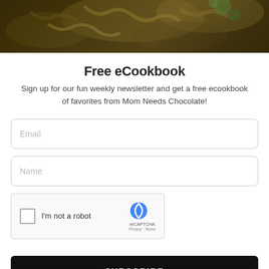[Figure (photo): Dark food photo showing pasta or noodles on a dark background, partially visible at top of page]
Free eCookbook
Sign up for our fun weekly newsletter and get a free ecookbook of favorites from Mom Needs Chocolate!
[Figure (screenshot): Email input field with placeholder text 'Email']
[Figure (screenshot): Name input field with placeholder text 'Name']
[Figure (screenshot): reCAPTCHA widget with 'I'm not a robot' checkbox]
SUBSCRIBE